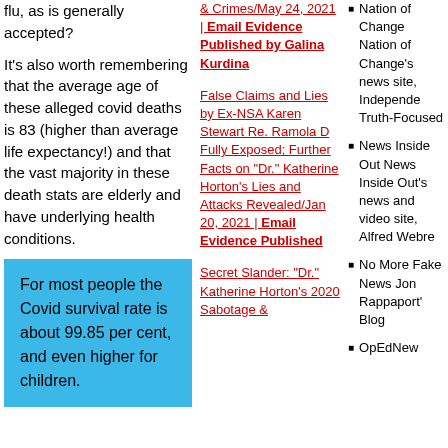flu, as is generally accepted?
It's also worth remembering that the average age of these alleged covid deaths is 83 (higher than average life expectancy!) and that the vast majority in these death stats are elderly and have underlying health conditions.
For most people the Covid survival rate is about 99.85 per cent, and even higher for children.
& Crimes/May 24, 2021 | Email Evidence Published by Galina Kurdina
False Claims and Lies by Ex-NSA Karen Stewart Re. Ramola D Fully Exposed; Further Facts on "Dr." Katherine Horton's Lies and Attacks Revealed/Jan 20, 2021 | Email Evidence Published
Secret Slander: "Dr." Katherine Horton's 2020 Sabotage &
Nation of Change Nation of Change's news site, Independent Truth-Focused
News Inside Out News Inside Out's news and video site, Alfred Webre
No More Fake News Jon Rappaport's Blog
OpEdNews